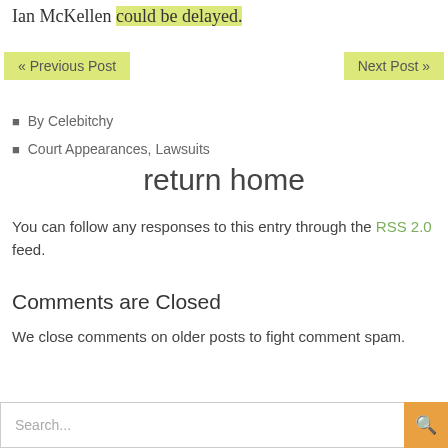Ian McKellen could be delayed.
« Previous Post    Next Post »
By Celebitchy
Court Appearances, Lawsuits
return home
You can follow any responses to this entry through the RSS 2.0 feed.
Comments are Closed
We close comments on older posts to fight comment spam.
Search...